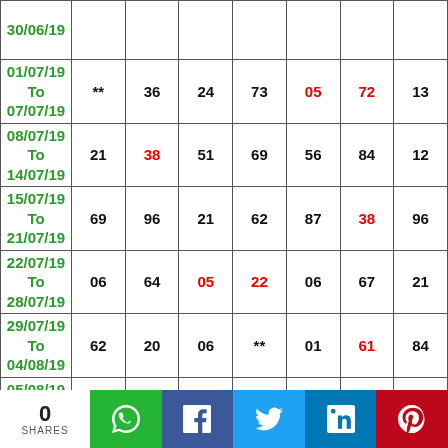| Date | Col1 | Col2 | Col3 | Col4 | Col5 | Col6 | Col7 |
| --- | --- | --- | --- | --- | --- | --- | --- |
| 30/06/19 |  |  |  |  |  |  |  |
| 01/07/19 To 07/07/19 | ** | 36 | 24 | 73 | 05 | 72 | 13 |
| 08/07/19 To 14/07/19 | 21 | 38 | 51 | 69 | 56 | 84 | 12 |
| 15/07/19 To 21/07/19 | 69 | 96 | 21 | 62 | 87 | 38 | 96 |
| 22/07/19 To 28/07/19 | 06 | 64 | 05 | 22 | 06 | 67 | 21 |
| 29/07/19 To 04/08/19 | 62 | 20 | 06 | ** | 01 | 61 | 84 |
| 05/08/19 To 11/08/19 | 87 | 78 | 22 | 34 | 84 | 53 | 43 |
| 12/08/19 To 18/08/19 | 09 | 43 | 14 | 07 | 46 | Refresh |  |